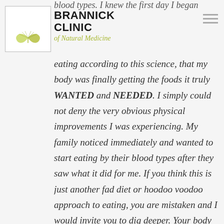blood types. I knew the first day I began
[Figure (logo): Brannick Clinic of Natural Medicine logo with ginkgo leaf]
BRANNICK CLINIC of Natural Medicine
eating according to this science, that my body was finally getting the foods it truly WANTED and NEEDED. I simply could not deny the very obvious physical improvements I was experiencing. My family noticed immediately and wanted to start eating by their blood types after they saw what it did for me. If you think this is just another fad diet or hoodoo voodoo approach to eating, you are mistaken and I would invite you to dig deeper. Your body is not capable of lying to you and when you nourish your body according to these guidelines you will